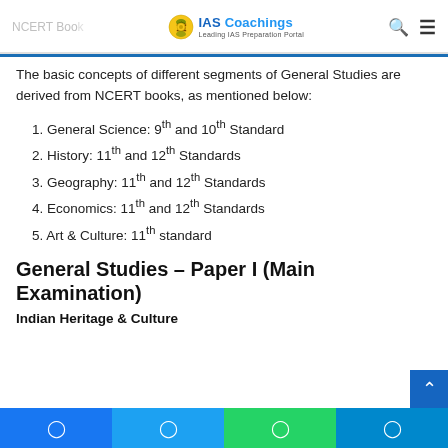NCERT Book ... IAS Coachings - Leading IAS Preparation Portal
The basic concepts of different segments of General Studies are derived from NCERT books, as mentioned below:
1. General Science: 9th and 10th Standard
2. History: 11th and 12th Standards
3. Geography: 11th and 12th Standards
4. Economics: 11th and 12th Standards
5. Art & Culture: 11th standard
General Studies – Paper I (Main Examination)
Indian Heritage & Culture